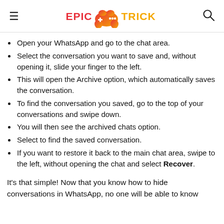EPIC TRICK (logo with game controller icon)
Open your WhatsApp and go to the chat area.
Select the conversation you want to save and, without opening it, slide your finger to the left.
This will open the Archive option, which automatically saves the conversation.
To find the conversation you saved, go to the top of your conversations and swipe down.
You will then see the archived chats option.
Select to find the saved conversation.
If you want to restore it back to the main chat area, swipe to the left, without opening the chat and select Recover.
It's that simple! Now that you know how to hide conversations in WhatsApp, no one will be able to know